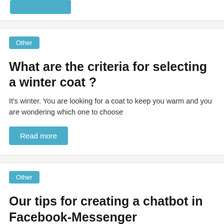[Figure (other): Blue button/bar at top of page, partial view]
Other
What are the criteria for selecting a winter coat ?
It's winter. You are looking for a coat to keep you warm and you are wondering which one to choose
Read more
Other
Our tips for creating a chatbot in Facebook-Messenger
In order to grow your business, it is very important that you seek to satisfy and address the concerns of